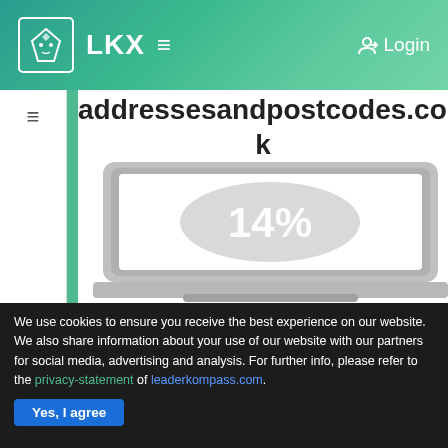LKX ≡   Login
addressesandpostcodes.co.uk
[Figure (screenshot): A laptop screen displaying '14%' in large bold white text with a glowing effect on a white background, inside a gray laptop frame]
We use cookies to ensure you receive the best experience on our website. We also share information about your use of our website with our partners for social media, advertising and analysis. For further info, please refer to the privacy-statement of leaderkompass.com.
Yes, I agree